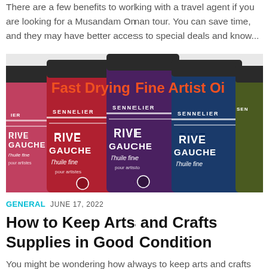There are a few benefits to working with a travel agent if you are looking for a Musandam Oman tour. You can save time, and they may have better access to special deals and know...
[Figure (photo): Photo of multiple Sennelier Rive Gauche l'huile fine oil paint tubes in red, purple, blue, and green/olive colors arranged together, with orange text overlay reading 'Fast Drying Fine Artist Oi']
GENERAL  JUNE 17, 2022
How to Keep Arts and Crafts Supplies in Good Condition
You might be wondering how always to keep arts and crafts